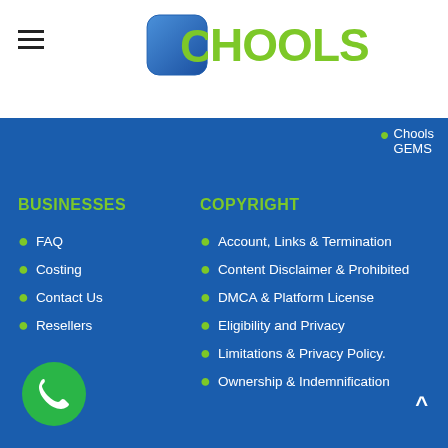[Figure (logo): Chools logo with blue rounded square icon containing a green C, followed by green text HOOLS]
Chools GEMS
BUSINESSES
COPYRIGHT
FAQ
Costing
Contact Us
Resellers
Account, Links & Termination
Content Disclaimer & Prohibited
DMCA & Platform License
Eligibility and Privacy
Limitations & Privacy Policy.
Ownership & Indemnification